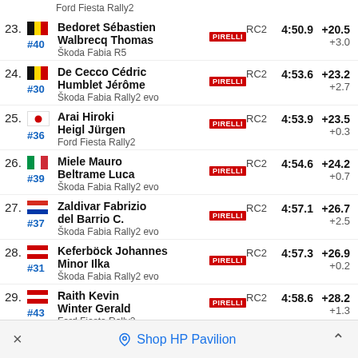Ford Fiesta Rally2
| Pos | Flag/Num | Driver/Codriver/Car | Brand | Class | Time | Gap |
| --- | --- | --- | --- | --- | --- | --- |
| 23. | #40 | Bedoret Sébastien / Walbrecq Thomas / Škoda Fabia R5 | Škoda | RC2 | 4:50.9 | +20.5 / +3.0 |
| 24. | #30 | De Cecco Cédric / Humblet Jérôme / Škoda Fabia Rally2 evo | Škoda | RC2 | 4:53.6 | +23.2 / +2.7 |
| 25. | #36 | Arai Hiroki / Heigl Jürgen / Ford Fiesta Rally2 | Ford | RC2 | 4:53.9 | +23.5 / +0.3 |
| 26. | #39 | Miele Mauro / Beltrame Luca / Škoda Fabia Rally2 evo | Škoda | RC2 | 4:54.6 | +24.2 / +0.7 |
| 27. | #37 | Zaldivar Fabrizio / del Barrio C. / Škoda Fabia Rally2 evo | Škoda | RC2 | 4:57.1 | +26.7 / +2.5 |
| 28. | #31 | Keferböck Johannes / Minor Ilka / Škoda Fabia Rally2 evo | Škoda | RC2 | 4:57.3 | +26.9 / +0.2 |
| 29. | #43 | Raith Kevin / Winter Gerald / Ford Fiesta Rally2 | Ford | RC2 | 4:58.6 | +28.2 / +1.3 |
| 30. | #46 | Pajari Sami / Salminen Marko / Ford Fiesta Rally4 | Ford | RC4 | 4:59.2 | +28.8 / +0.6 |
× Shop HP Pavilion ^